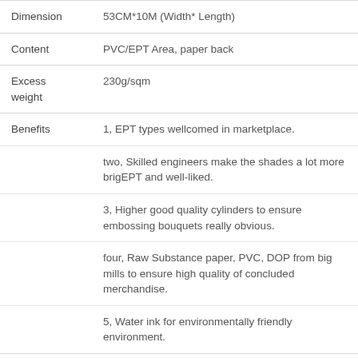| Attribute | Value |
| --- | --- |
| Dimension | 53CM*10M (Width* Length) |
| Content | PVC/EPT Area, paper back |
| Excess weight | 230g/sqm |
| Benefits | 1, EPT types wellcomed in marketplace.
two, Skilled engineers make the shades a lot more brigEPT and well-liked.
3, Higher good quality cylinders to ensure embossing bouquets really obvious.
four, Raw Substance paper, PVC, DOP from big mills to ensure high quality of concluded merchandise.
5, Water ink for environmentally friendly environment. |
| Style | Present day |
| Certification | CFC, CE, SGS, CQC, VOC |